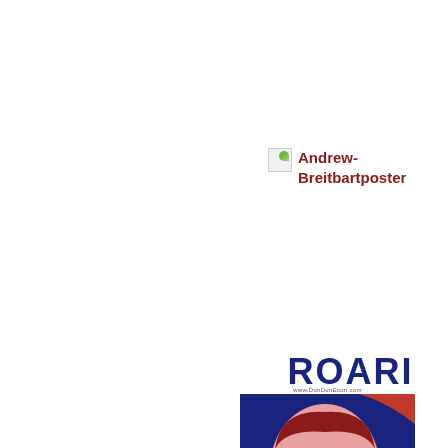[Figure (illustration): Broken image icon placeholder next to text label 'Andrew-Breitbartposter' in dark red/maroon bold font, then below a poster-style illustration of a man's face in red, pink, and dark blue colors (pop-art style), with small URL text 'www.DonDonEcon.com' at top of poster image]
ROARI